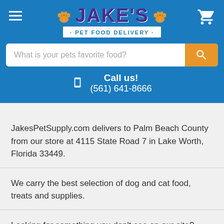[Figure (logo): Jake's Pet Food Delivery logo with orange paw prints and blue banner on blue header background]
What is your pets favorite food?
Call us!
(561) 641-8666
JakesPetSupply.com delivers to Palm Beach County from our store at 4115 State Road 7 in Lake Worth, Florida 33449.
We carry the best selection of dog and cat food, treats and supplies.
Looking for something you don't see on our site? Give us a call!
(561) 641-8666